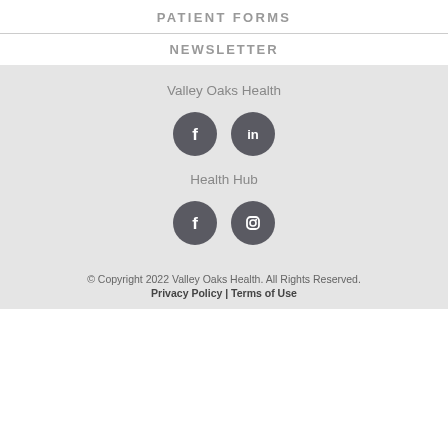PATIENT FORMS
NEWSLETTER
Valley Oaks Health
[Figure (other): Facebook and LinkedIn social media icons (dark circular buttons)]
Health Hub
[Figure (other): Facebook and Instagram social media icons (dark circular buttons)]
© Copyright 2022 Valley Oaks Health. All Rights Reserved. Privacy Policy | Terms of Use